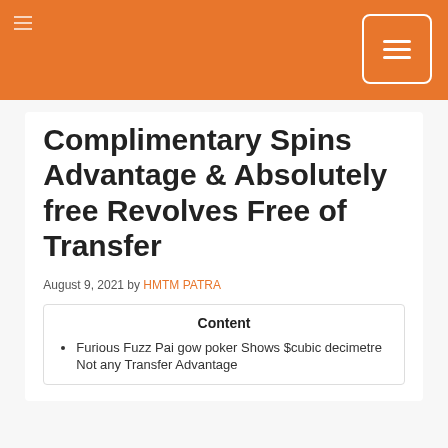Complimentary Spins Advantage & Absolutely free Revolves Free of Transfer
August 9, 2021 by HMTM PATRA
Content
Furious Fuzz Pai gow poker Shows $cubic decimetre Not any Transfer Advantage